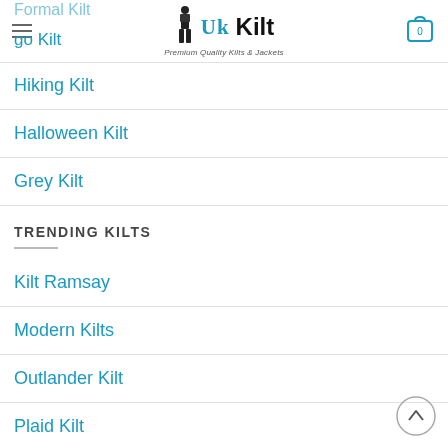UK Kilt — Premium Quality Kilts & Jackets
Formal Kilt (partially visible at top)
go Kilt
Hiking Kilt
Halloween Kilt
Grey Kilt
TRENDING KILTS
Kilt Ramsay
Modern Kilts
Outlander Kilt
Plaid Kilt
Red Kilt